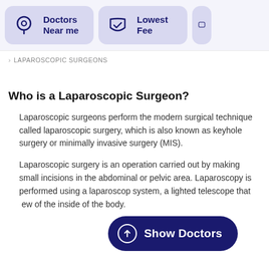[Figure (screenshot): Navigation bar with two visible cards: 'Doctors Near me' with a location pin icon, and 'Lowest Fee' with a shield/check icon, on a light purple background.]
LAPAROSCOPIC SURGEONS
Who is a Laparoscopic Surgeon?
Laparoscopic surgeons perform the modern surgical technique called laparoscopic surgery, which is also known as keyhole surgery or minimally invasive surgery (MIS).
Laparoscopic surgery is an operation carried out by making small incisions in the abdominal or pelvic area. Laparoscopy is performed using a laparoscop system, a lighted telescope that ew of the inside of the body.
[Figure (screenshot): Dark navy 'Show Doctors' button with an upward arrow icon in a circle, overlaid on the bottom right of the page.]